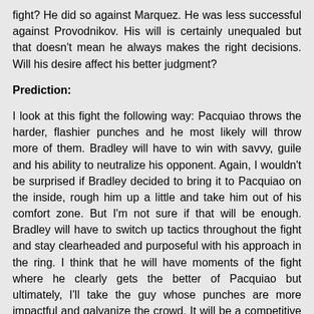fight? He did so against Marquez. He was less successful against Provodnikov. His will is certainly unequaled but that doesn't mean he always makes the right decisions. Will his desire affect his better judgment?
Prediction:
I look at this fight the following way: Pacquiao throws the harder, flashier punches and he most likely will throw more of them. Bradley will have to win with savvy, guile and his ability to neutralize his opponent. Again, I wouldn't be surprised if Bradley decided to bring it to Pacquiao on the inside, rough him up a little and take him out of his comfort zone. But I'm not sure if that will be enough. Bradley will have to switch up tactics throughout the fight and stay clearheaded and purposeful with his approach in the ring. I think that he will have moments of the fight where he clearly gets the better of Pacquiao but ultimately, I'll take the guy whose punches are more impactful and galvanize the crowd. It will be a competitive fight, but Pacquiao's work rate and superior power shots will take the day.